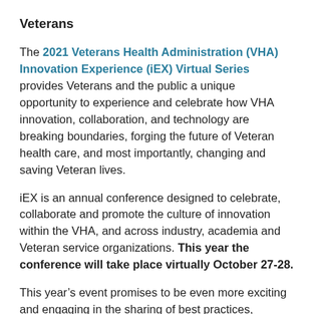Veterans
The 2021 Veterans Health Administration (VHA) Innovation Experience (iEX) Virtual Series provides Veterans and the public a unique opportunity to experience and celebrate how VHA innovation, collaboration, and technology are breaking boundaries, forging the future of Veteran health care, and most importantly, changing and saving Veteran lives.
iEX is an annual conference designed to celebrate, collaborate and promote the culture of innovation within the VHA, and across industry, academia and Veteran service organizations. This year the conference will take place virtually October 27-28.
This year’s event promises to be even more exciting and engaging in the sharing of best practices, networking, and discovering new ideas that are making a real difference in Veteran lives. Through expert panels, a new